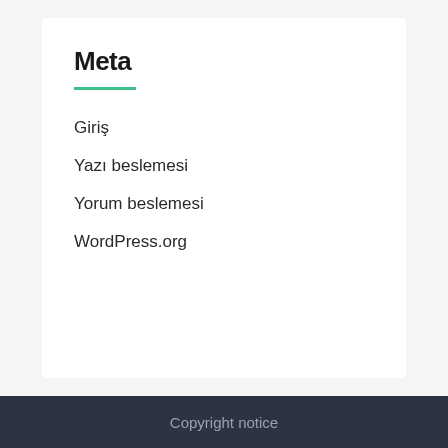Meta
Giriş
Yazı beslemesi
Yorum beslemesi
WordPress.org
Copyright notice